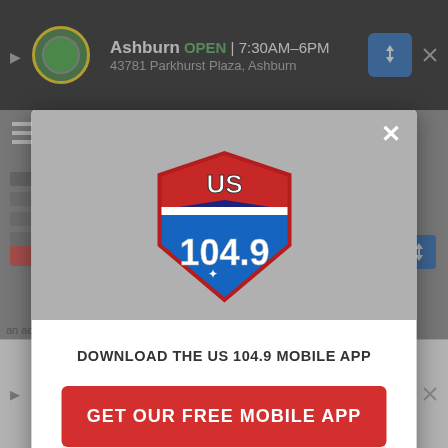[Figure (screenshot): Background webpage with top ad banner showing Ashburn auto service, OPEN 7:30AM-6PM, 43781 Parkhurst Plaza Ashburn]
[Figure (logo): US 104.9 radio station shield logo in red, white and blue colors]
DOWNLOAD THE US 104.9 MOBILE APP
GET OUR FREE MOBILE APP
Also listen on:  amazon alexa
[Figure (screenshot): Bottom ad banner showing Ashburn auto service, OPEN 7:30AM-6PM, 43781 Parkhurst Plaza Ashburn]